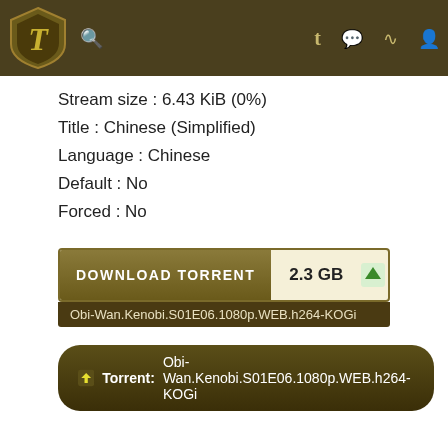Kickass Torrents header navigation bar
Stream size : 6.43 KiB (0%)
Title : Chinese (Simplified)
Language : Chinese
Default : No
Forced : No
DOWNLOAD TORRENT  2.3 GB  seeders:5045
Obi-Wan.Kenobi.S01E06.1080p.WEB.h264-KOGi
Torrent: Obi-Wan.Kenobi.S01E06.1080p.WEB.h264-KOGi
dmca  |  Kickass Torrents